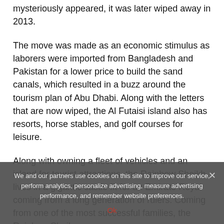The move was made as an economic stimulus as laborers were imported from Bangladesh and Pakistan for a lower price to build the sand canals, which resulted in a buzz around the tourism plan of Abu Dhabi. Along with the letters that are now wiped, the Al Futaisi island also has resorts, horse stables, and golf courses for leisure.
Along with owning a fleet of vehicles and an island for tourist attractions, the Rainbow Sheikh lives in a gigantic castle fit for an Emirate Royal coming from a long generation of rulers. Coming from one of the most successful families...
We and our partners use cookies on this site to improve our service, perform analytics, personalize advertising, measure advertising performance, and remember website preferences.
Ok